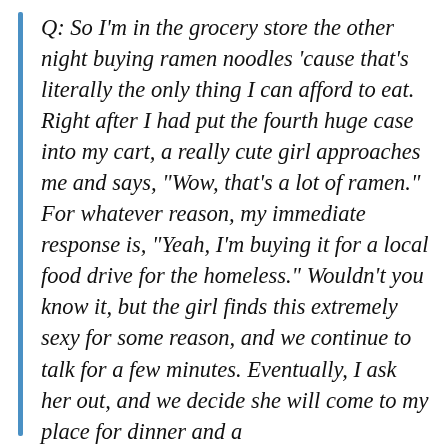Q: So I'm in the grocery store the other night buying ramen noodles 'cause that's literally the only thing I can afford to eat. Right after I had put the fourth huge case into my cart, a really cute girl approaches me and says, "Wow, that's a lot of ramen." For whatever reason, my immediate response is, "Yeah, I'm buying it for a local food drive for the homeless." Wouldn't you know it, but the girl finds this extremely sexy for some reason, and we continue to talk for a few minutes. Eventually, I ask her out, and we decide she will come to my place for dinner and a